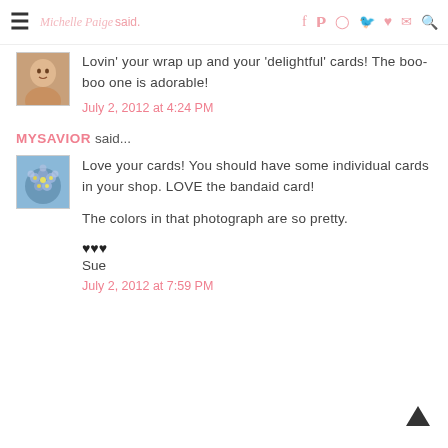Michelle Paige said. [navigation icons]
Lovin' your wrap up and your 'delightful' cards! The boo-boo one is adorable!
July 2, 2012 at 4:24 PM
MYSAVIOR said...
Love your cards! You should have some individual cards in your shop. LOVE the bandaid card!

The colors in that photograph are so pretty.

♥♥♥
Sue
July 2, 2012 at 7:59 PM